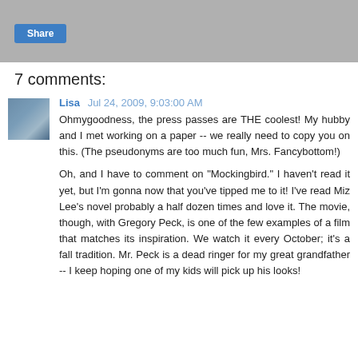[Figure (other): Gray share bar with a blue Share button]
7 comments:
Lisa  Jul 24, 2009, 9:03:00 AM
Ohmygoodness, the press passes are THE coolest! My hubby and I met working on a paper -- we really need to copy you on this. (The pseudonyms are too much fun, Mrs. Fancybottom!)

Oh, and I have to comment on "Mockingbird." I haven't read it yet, but I'm gonna now that you've tipped me to it! I've read Miz Lee's novel probably a half dozen times and love it. The movie, though, with Gregory Peck, is one of the few examples of a film that matches its inspiration. We watch it every October; it's a fall tradition. Mr. Peck is a dead ringer for my great grandfather -- I keep hoping one of my kids will pick up his looks!